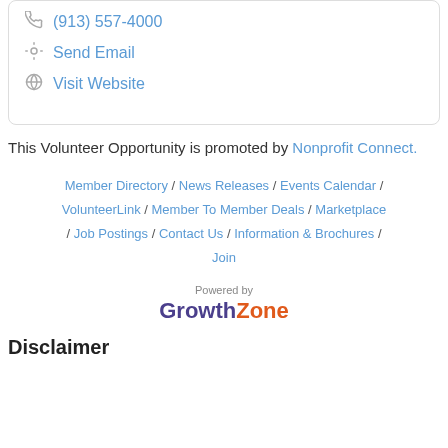(913) 557-4000
Send Email
Visit Website
This Volunteer Opportunity is promoted by Nonprofit Connect.
Member Directory / News Releases / Events Calendar / VolunteerLink / Member To Member Deals / Marketplace / Job Postings / Contact Us / Information & Brochures / Join
[Figure (logo): Powered by GrowthZone logo]
Disclaimer